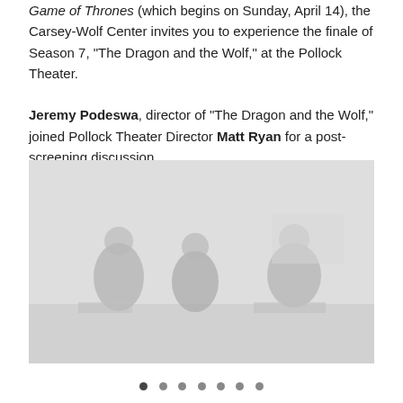Game of Thrones (which begins on Sunday, April 14), the Carsey-Wolf Center invites you to experience the finale of Season 7, "The Dragon and the Wolf," at the Pollock Theater. Jeremy Podeswa, director of "The Dragon and the Wolf," joined Pollock Theater Director Matt Ryan for a post-screening discussion.
[Figure (photo): A faded/washed-out photograph showing people on a stage in a darkened theater, appearing to be a post-screening discussion panel.]